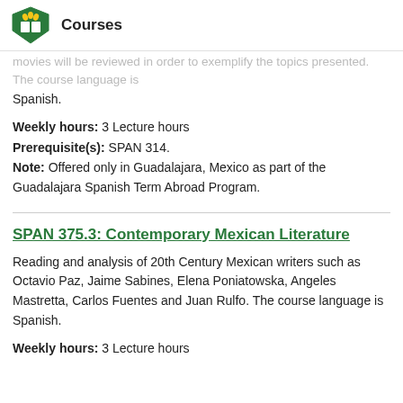Courses
movies will be reviewed in order to exemplify the topics presented. The course language is Spanish.
Weekly hours: 3 Lecture hours
Prerequisite(s): SPAN 314.
Note: Offered only in Guadalajara, Mexico as part of the Guadalajara Spanish Term Abroad Program.
SPAN 375.3: Contemporary Mexican Literature
Reading and analysis of 20th Century Mexican writers such as Octavio Paz, Jaime Sabines, Elena Poniatowska, Angeles Mastretta, Carlos Fuentes and Juan Rulfo. The course language is Spanish.
Weekly hours: 3 Lecture hours